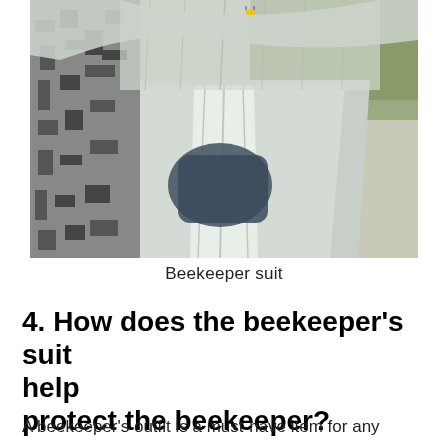[Figure (photo): Close-up photograph of a beekeeper suit showing white protective fabric with mesh/veil overlay and patterned cloth alongside it, with a phone shadow visible on the suit. Outdoor setting visible in background.]
Beekeeper suit
4. How does the beekeeper's suit help protect the beekeeper?
A beekeeper's outfit is a must-have item for any